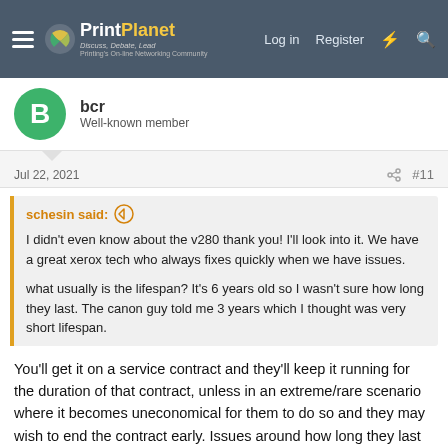PrintPlanet — Discuss, Debate, Lead — Printing's On-line Networking Community | Log in | Register
bcr
Well-known member
Jul 22, 2021  #11
schesin said:
I didn't even know about the v280 thank you! I'll look into it. We have a great xerox tech who always fixes quickly when we have issues.

what usually is the lifespan? It's 6 years old so I wasn't sure how long they last. The canon guy told me 3 years which I thought was very short lifespan.
You'll get it on a service contract and they'll keep it running for the duration of that contract, unless in an extreme/rare scenario where it becomes uneconomical for them to do so and they may wish to end the contract early. Issues around how long they last are for consideration only when you're looking to renew or extend an expired service contract, or